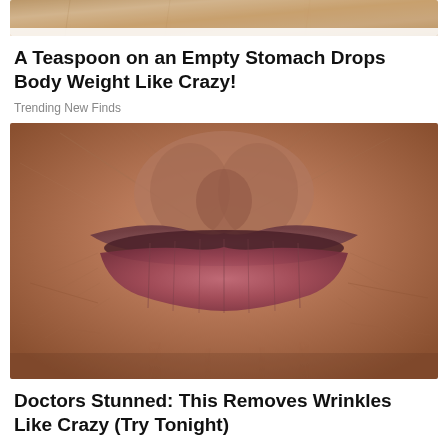[Figure (photo): Partial cropped photo of a person, top strip visible at top of page]
A Teaspoon on an Empty Stomach Drops Body Weight Like Crazy!
Trending New Finds
[Figure (photo): Close-up macro photo of elderly person's lips and surrounding skin showing deep wrinkles]
Doctors Stunned: This Removes Wrinkles Like Crazy (Try Tonight)